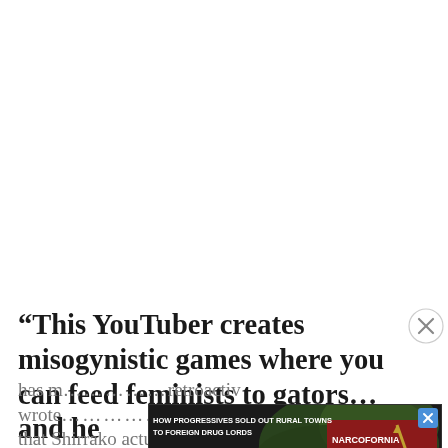“This YouTuber creates misogynistic games where you can feed feminists to gators… and he has m……retroactiv wrote……………belief that Shirrako actually created his own video
[Figure (other): Advertisement banner: 'HOW PROGRESSIVES SOLD OUT RURAL TOWNS TO FOREIGN DRUG LORDS' with NARCOFORNIA logo and WATCH NOW button with play icon. Has a close X button and an ad close X in the top right.]